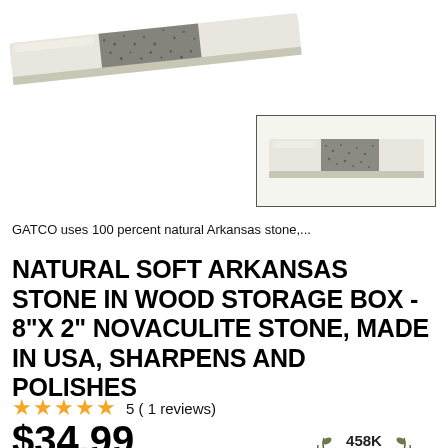[Figure (photo): Close-up photo of a whetstone sharpening stone, light colored with dark middle section, shown at an angle from above]
[Figure (photo): Thumbnail photo of the Arkansas sharpening stone in a rectangular bordered box, showing the stone from a slight angle, light colored with dark middle section]
GATCO uses 100 percent natural Arkansas stone,...
NATURAL SOFT ARKANSAS STONE IN WOOD STORAGE BOX - 8"X 2" NOVACULITE STONE, MADE IN USA, SHARPENS AND POLISHES
5 ( 1 reviews)
$34.99
[Figure (logo): Shopper approved badge showing 458K 5-Star Ratings with gold stars and laurel wreath design]